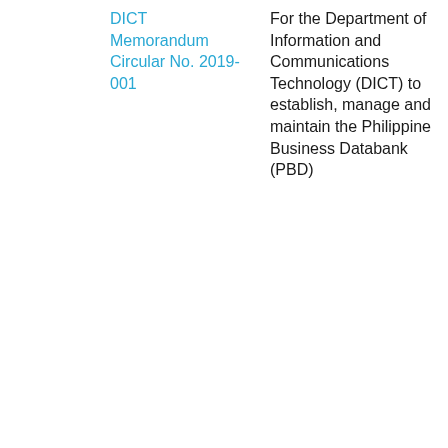DICT Memorandum Circular No. 2019-001
For the Department of Information and Communications Technology (DICT) to establish, manage and maintain the Philippine Business Databank (PBD)
11 Sep 2019